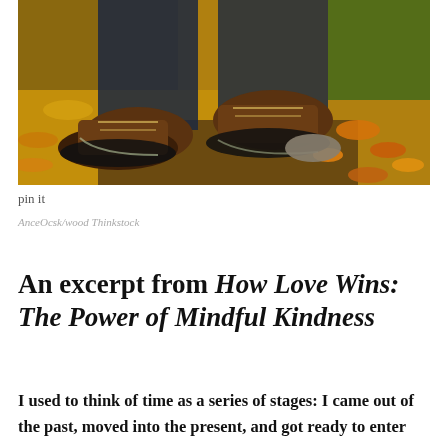[Figure (photo): Close-up photo of hiking boots walking on an autumn forest trail with fallen orange and yellow leaves, green moss, and dirt path.]
pin it
AnceOcsk/wood Thinkstock
An excerpt from How Love Wins: The Power of Mindful Kindness
I used to think of time as a series of stages: I came out of the past, moved into the present, and got ready to enter